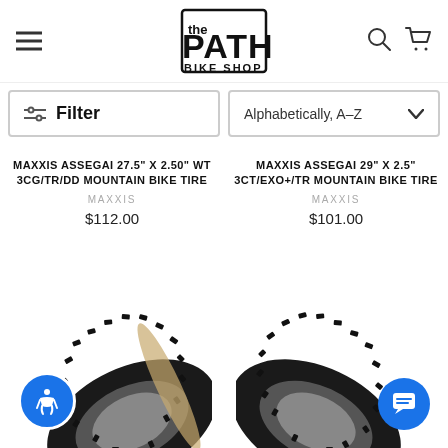[Figure (logo): The Path Bike Shop logo in black bold lettering]
Filter
Alphabetically, A-Z
MAXXIS ASSEGAI 27.5" X 2.50" WT 3CG/TR/DD MOUNTAIN BIKE TIRE
MAXXIS
$112.00
MAXXIS ASSEGAI 29" X 2.5" 3CT/EXO+/TR MOUNTAIN BIKE TIRE
MAXXIS
$101.00
[Figure (photo): Maxxis Assegai mountain bike tire, black, knobby tread, left product]
[Figure (photo): Maxxis Assegai mountain bike tire, black, knobby tread, right product]